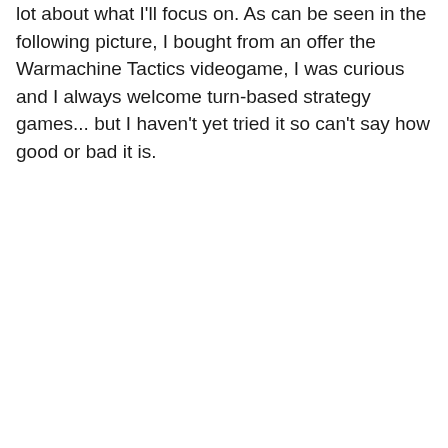lot about what I'll focus on. As can be seen in the following picture, I bought from an offer the Warmachine Tactics videogame, I was curious and I always welcome turn-based strategy games... but I haven't yet tried it so can't say how good or bad it is.